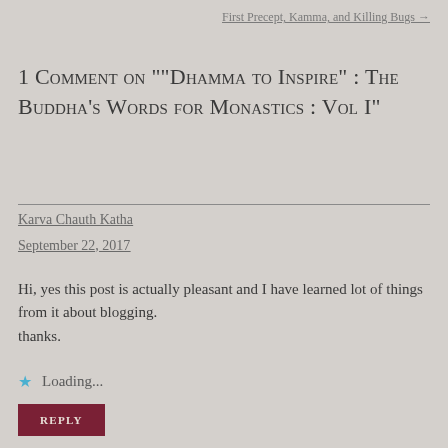First Precept, Kamma, and Killing Bugs →
1 Comment on "“Dhamma to Inspire” : The Buddha’s Words for Monastics : Vol I"
Karva Chauth Katha
September 22, 2017
Hi, yes this post is actually pleasant and I have learned lot of things from it about blogging.
thanks.
Loading...
REPLY